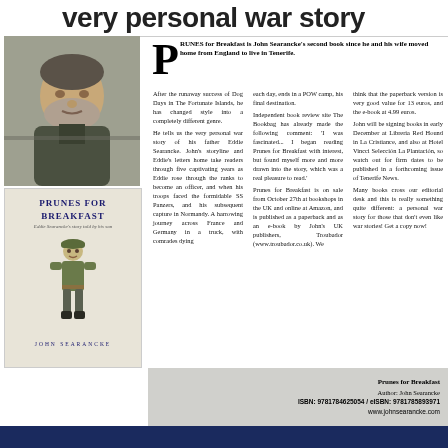very personal war story
PRUNES for Breakfast is John Searancke's second book since he and his wife moved home from England to live in Tenerife.
[Figure (photo): Photo of a bearded man and below it a book cover for 'Prunes for Breakfast' by John Searancke showing a cartoon soldier illustration]
After the runaway success of Dog Days in The Fortunate Islands, he has changed style into a completely different genre. He tells us the very personal war story of his father Eddie Searancke. John's storyline and Eddie's letters home take readers through five captivating years as Eddie rose through the ranks to become an officer, and when his troops faced the formidable SS Panzers, and his subsequent capture in Normandy. A harrowing journey across France and Germany in a truck, with comrades dying each day, ends in a POW camp, his final destination. Independent book review site The Bookbag has already made the following comment: 'I was fascinated... I began reading Prunes for Breakfast with interest, but found myself more and more drawn into the story, which was a real pleasure to read.' Prunes for Breakfast is on sale from October 27th at bookshops in the UK and online at Amazon, and is published as a paperback and as an e-book by John's UK publishers, Troubador (www.troubador.co.uk). We think that the paperback version is very good value for 13 euros, and the e-book at 4.99 euros. John will be signing books in early December at Libreria Red Hound in La Cristiance, and also at Hotel Vincci Selección La Plantación, so watch out for firm dates to be published in a forthcoming issue of Tenerife News. Many books cross our editorial desk and this is really something quite different: a personal war story for those that don't even like war stories! Get a copy now!
Prunes for Breakfast
Author: John Searancke
ISBN: 9781784625054 / eISBN: 9781785893971
www.johnsearancke.com